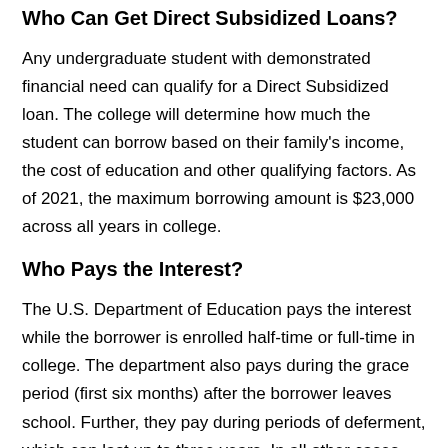Who Can Get Direct Subsidized Loans?
Any undergraduate student with demonstrated financial need can qualify for a Direct Subsidized loan. The college will determine how much the student can borrow based on their family's income, the cost of education and other qualifying factors. As of 2021, the maximum borrowing amount is $23,000 across all years in college.
Who Pays the Interest?
The U.S. Department of Education pays the interest while the borrower is enrolled half-time or full-time in college. The department also pays during the grace period (first six months) after the borrower leaves school. Further, they pay during periods of deferment, which can last up to three years. In all other cases, the borrower is responsible for